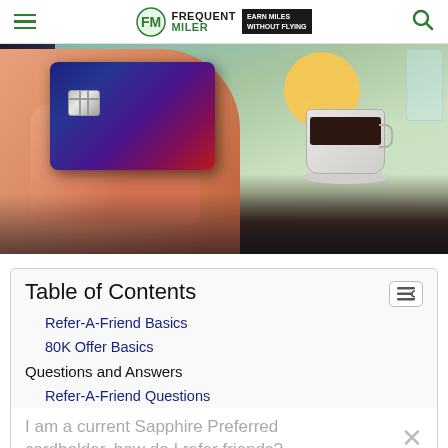Frequent Miler — Earn Miles Without Flying
[Figure (photo): Hand holding a dark blue credit card with chip, with a coffee cup and outdoor dining scene in the background, yellow sun circle visible behind the card.]
Table of Contents
Refer-A-Friend Basics
80K Offer Basics
Questions and Answers
Refer-A-Friend Questions
I am a current Sapphire Preferred cardholder, how do I refer friends?